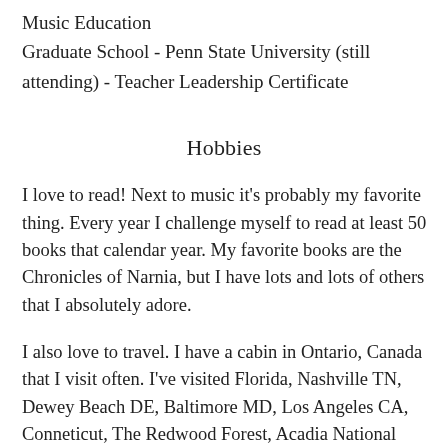Music Education
Graduate School - Penn State University (still attending) - Teacher Leadership Certificate
Hobbies
I love to read! Next to music it's probably my favorite thing. Every year I challenge myself to read at least 50 books that calendar year. My favorite books are the Chronicles of Narnia, but I have lots and lots of others that I absolutely adore.
I also love to travel. I have a cabin in Ontario, Canada that I visit often. I've visited Florida, Nashville TN, Dewey Beach DE, Baltimore MD, Los Angeles CA, Conneticut, The Redwood Forest, Acadia National Park in Maine, Cape, Cod, and a host of small day trips around PA. Mr. Obielecki and I have a US map that we put push pins in when we visit a new place!